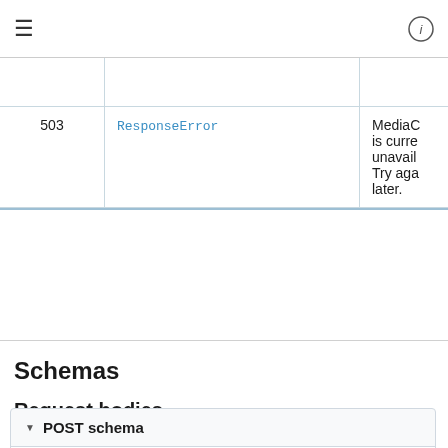≡   (i)
|  |  | conditi… |
| --- | --- | --- |
|  |  | conditi… |
| 503 | ResponseError | MediaC… is curre… unavail… Try aga… later. |
Schemas
Request bodies
▼  POST schema